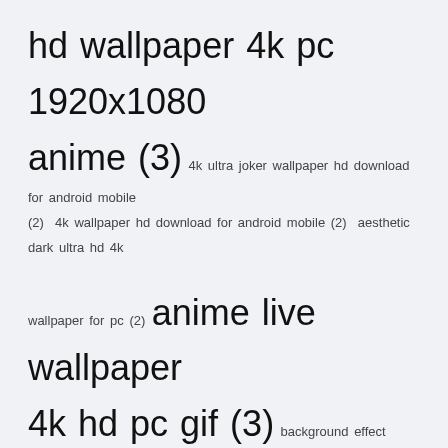hd wallpaper 4k pc 1920x1080 anime (3) 4k ultra joker wallpaper hd download for android mobile (2) 4k wallpaper hd download for android mobile (2) aesthetic dark ultra hd 4k wallpaper for pc (2) anime live wallpaper 4k hd pc gif (3) background effect danish zehen photo editing background png (2) black cat wallpaper hd 4k (2) blue hd 4k blue iphone 12 pro wallpaper (2) blue iphone 12 wallpaper hd 4k (3) boy photo editing background without face (2) building photo editing background full hd (2) cool hd wallpaper for laptop 4k (2) cool wallpaper 4k hd for mobile (2) cute boy photo editing background hd download (2) danish zehen photo editing background (2) danish zehen photo editing background hd (2) danish zehen photo editing background png (2)